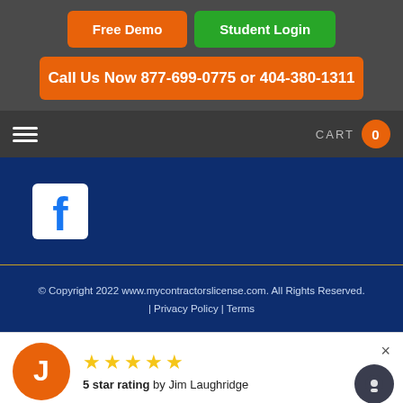[Figure (screenshot): Orange 'Free Demo' button and green 'Student Login' button in dark header]
[Figure (screenshot): Orange 'Call Us Now 877-699-0775 or 404-380-1311' button]
[Figure (screenshot): Navigation bar with hamburger menu icon on left and CART 0 badge on right]
[Figure (screenshot): Facebook icon on dark blue background]
© Copyright 2022 www.mycontractorslicense.com. All Rights Reserved.
| Privacy Policy | Terms
5 star rating by Jim Laughridge